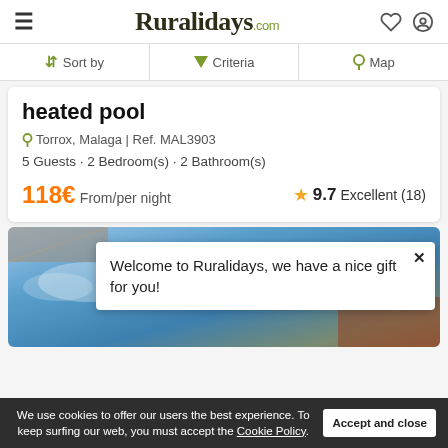Ruralidays.com
Sort by  Criteria  Map
heated pool
Torrox, Malaga | Ref. MAL3903
5 Guests · 2 Bedroom(s) · 2 Bathroom(s)
118€ From/per night  ★ 9.7 Excellent (18)
[Figure (photo): Outdoor pool area with blue sky background]
Welcome to Ruralidays, we have a nice gift for you!
We use cookies to offer our users the best experience. To keep surfing our web, you must accept the Cookie Policy.